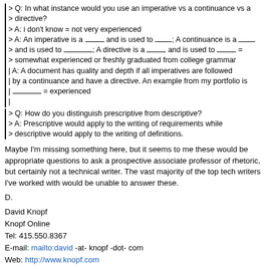> Q: In what instance would you use an imperative vs a continuance vs a directive?
> A: i don't know = not very experienced
> A: An imperative is a ____ and is used to ____; A continuance is a ____ and is used to ________; A directive is a _____ and is used to ______ = somewhat experienced or freshly graduated from college grammar
A: A document has quality and depth if all imperatives are followed by a continuance and have a directive. An example from my portfolio is ______ = experienced
> Q: How do you distinguish prescriptive from descriptive?
> A: Prescriptive would apply to the writing of requirements while descriptive would apply to the writing of definitions.
Maybe I'm missing something here, but it seems to me these would be appropriate questions to ask a prospective associate professor of rhetoric, but certainly not a technical writer. The vast majority of the top tech writers I've worked with would be unable to answer these.
D.
David Knopf
Knopf Online
Tel: 415.550.8367
E-mail: mailto:david -at- knopf -dot- com
Web: http://www.knopf.com
Certified RoboHELP Instructor & Consultant
RoboHELP Community Advisory Board
WebWorks Publisher Certified Trainer